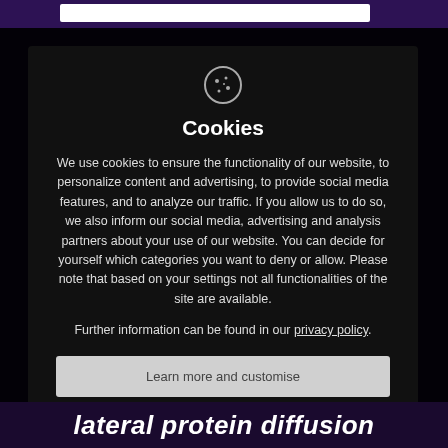[Figure (screenshot): Website cookie consent modal dialog overlay on a dark purple/navy background. Modal contains a cookie icon, title 'Cookies', explanatory text, privacy policy link, and three buttons: 'Learn more and customise', 'Reject All', 'Accept All'.]
Cookies
We use cookies to ensure the functionality of our website, to personalize content and advertising, to provide social media features, and to analyze our traffic. If you allow us to do so, we also inform our social media, advertising and analysis partners about your use of our website. You can decide for yourself which categories you want to deny or allow. Please note that based on your settings not all functionalities of the site are available.
Further information can be found in our privacy policy.
Learn more and customise
Reject All
Accept All
lateral protein diffusion